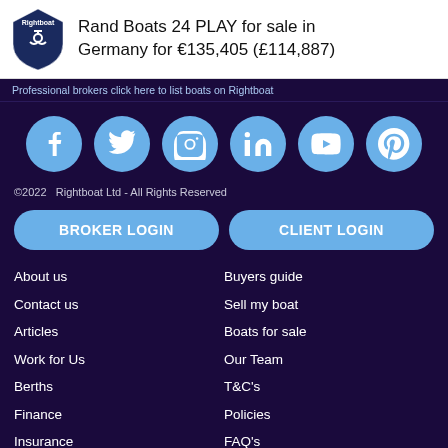Rand Boats 24 PLAY for sale in Germany for €135,405 (£114,887)
Professional brokers click here to list boats on Rightboat
[Figure (infographic): Six social media icons in light blue circles: Facebook, Twitter, Instagram, LinkedIn, YouTube, Pinterest]
©2022  Rightboat Ltd - All Rights Reserved
BROKER LOGIN
CLIENT LOGIN
About us
Contact us
Articles
Work for Us
Berths
Finance
Insurance
Warranty
Buyers guide
Sell my boat
Boats for sale
Our Team
T&C's
Policies
FAQ's
Cookies policy
rightboat.com Rating: 4.7 out of 5. Responses from 12253